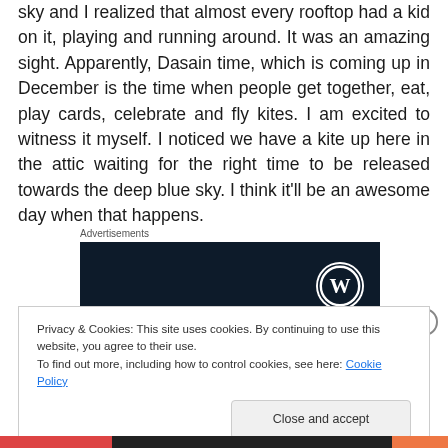sky and I realized that almost every rooftop had a kid on it, playing and running around. It was an amazing sight. Apparently, Dasain time, which is coming up in December is the time when people get together, eat, play cards, celebrate and fly kites. I am excited to witness it myself. I noticed we have a kite up here in the attic waiting for the right time to be released towards the deep blue sky. I think it'll be an awesome day when that happens.
Advertisements
[Figure (logo): Dark navy blue advertisement box with WordPress logo (white circle with W) in the right area]
Privacy & Cookies: This site uses cookies. By continuing to use this website, you agree to their use.
To find out more, including how to control cookies, see here: Cookie Policy